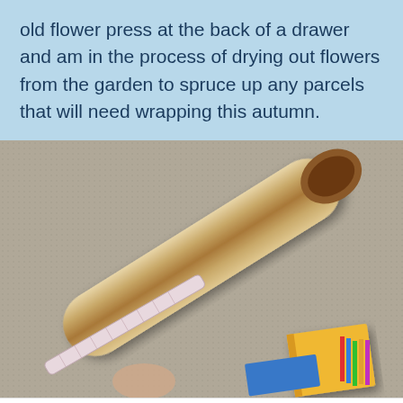old flower press at the back of a drawer and am in the process of drying out flowers from the garden to spruce up any parcels that will need wrapping this autumn.
[Figure (photo): A cardboard tube / rolled-up paper with a ribbon around it, lying on grey carpet, with a yellow book and coloured pencils visible in the bottom-right corner.]
Phone   Email   Twitter